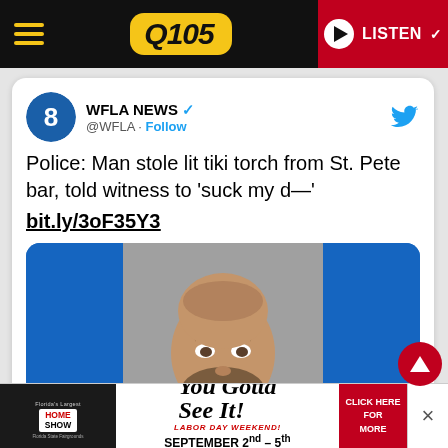Q105 — LISTEN
[Figure (screenshot): Embedded tweet from WFLA NEWS (@WFLA) with verified badge showing a mugshot photo. Tweet text: Police: Man stole lit tiki torch from St. Pete bar, told witness to 'suck my d—' bit.ly/3oF35Y3]
[Figure (photo): Mugshot photo of a bearded bald man against a blue background]
[Figure (infographic): Advertisement banner: Florida's Largest Home Show - You Gotta See It! Labor Day Weekend September 2nd-5th Florida State Fairgrounds - Click Here For More]